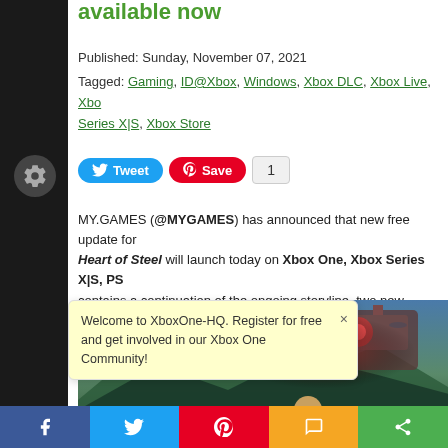available now
Published: Sunday, November 07, 2021
Tagged: Gaming, ID@Xbox, Windows, Xbox DLC, Xbox Live, Xbox Series X|S, Xbox Store
[Figure (screenshot): Social sharing buttons: Tweet (Twitter), Save (Pinterest), count badge showing 1]
MY.GAMES (@MYGAMES) has announced that new free update for Heart of Steel will launch today on Xbox One, Xbox Series X|S, PS... contains a continuation of the ongoing storyline, two new dungeons a...
[Figure (illustration): Game screenshot showing a fantasy sci-fi landscape with flying ships, a large mechanical structure in the sky, mountains, and a warrior character in the foreground]
Welcome to XboxOne-HQ. Register for free and get involved in our Xbox One Community!